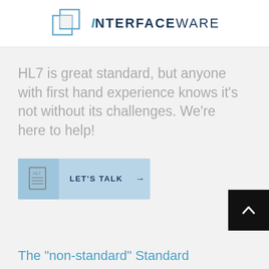[Figure (logo): iNTERFACEWARE logo with two overlapping square outlines in blue and text iNTERFACEWARE in dark navy uppercase]
HL7 is great standard, but anyone with first hand experience knows it's not without its challenges. We're here to help!
[Figure (other): Light blue CTA button with HL7 document icon and text LET'S TALK with arrow]
[Figure (other): Black back-to-top button with white upward chevron arrow]
The "non-standard" Standard